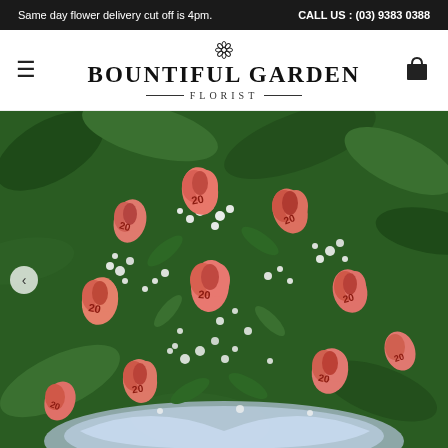Same day flower delivery cut off is 4pm.    CALL US : (03) 9383 0388
BOUNTIFUL GARDEN FLORIST
[Figure (photo): A bouquet of flowers made from folded Australian $20 banknotes shaped like roses, surrounded by white baby's breath flowers and green leaves, wrapped in pale blue mesh/tulle. The bouquet is photographed against a green leafy outdoor background.]